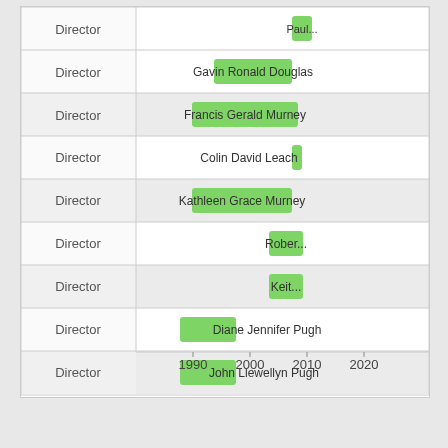[Figure (bar-chart): Directors timeline]